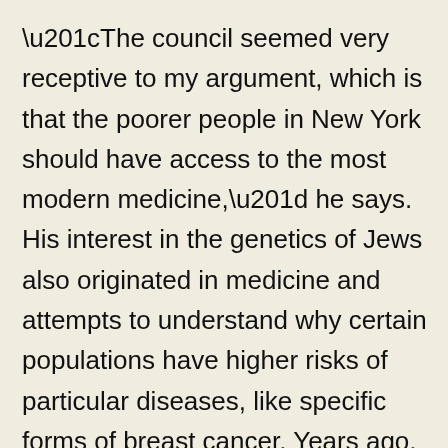“The council seemed very receptive to my argument, which is that the poorer people in New York should have access to the most modern medicine,” he says. His interest in the genetics of Jews also originated in medicine and attempts to understand why certain populations have higher risks of particular diseases, like specific forms of breast cancer. Years ago, while a professor at NYU, Ostrer started a project to identify DNA sequences that marked such populations. The sequences could also indicate how closely such groups were related,